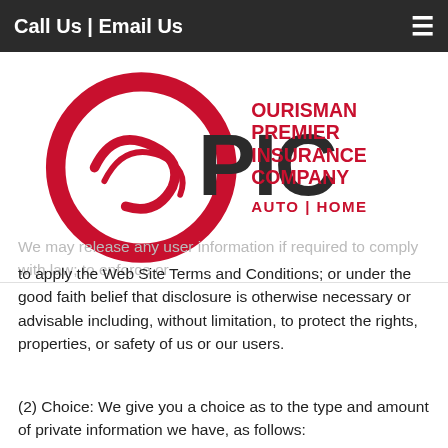Call Us | Email Us
[Figure (logo): OPIC - Ourisman Premier Insurance Company logo with red circular emblem and text AUTO | HOME]
We may release any user information if required to comply with law; to enforce or to apply the Web Site Terms and Conditions; or under the good faith belief that disclosure is otherwise necessary or advisable including, without limitation, to protect the rights, properties, or safety of us or our users.
(2) Choice: We give you a choice as to the type and amount of private information we have, as follows:
(a) Volunteered Information: You can always choose not to provide certain information to us. If you choose not to provide personal information, you can still